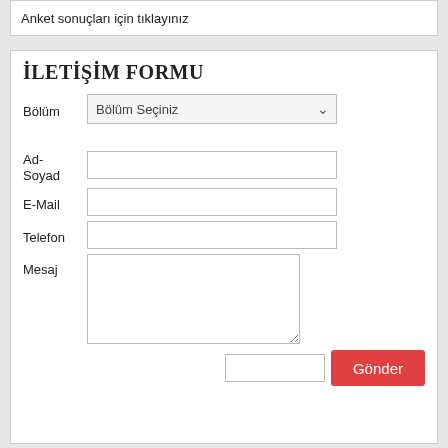Anket sonuçları için tıklayınız
İLETİŞİM FORMU
Bölüm - Bölüm Seçiniz (dropdown)
Ad-Soyad (text input)
E-Mail (text input)
Telefon (text input)
Mesaj (textarea)
Gönder (button)